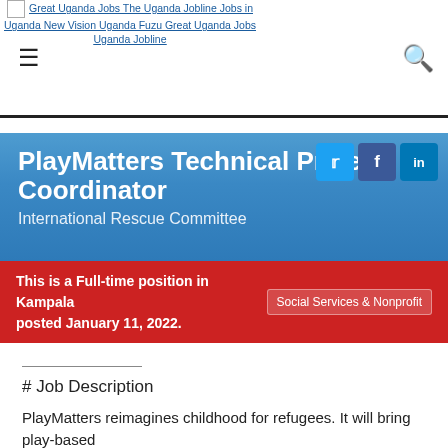Great Uganda Jobs The Uganda Jobline Jobs in Uganda New Vision Uganda Fuzu Great Uganda Jobs Uganda Jobline
PlayMatters Technical Project Coordinator
International Rescue Committee
This is a Full-time position in Kampala posted January 11, 2022.
Social Services & Nonprofit
# Job Description
PlayMatters reimagines childhood for refugees. It will bring play-based learning to 800,000 children across Ethiopia, Uganda, and